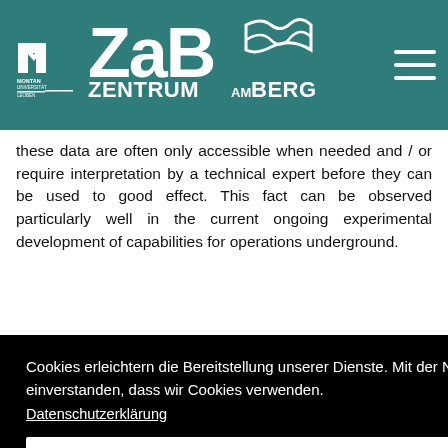ZaB Zentrum am Berg — Montanuniversität Leoben
these data are often only accessible when needed and / or require interpretation by a technical expert before they can be used to good effect. This fact can be observed particularly well in the current ongoing experimental development of capabilities for operations underground.
ll NIKE d data a truly It is ifferent irtuality ividual ntly no
Cookies erleichtern die Bereitstellung unserer Dienste. Mit der Nutzung unserer Dienste erklären Sie sich damit einverstanden, dass wir Cookies verwenden. Datenschutzerklärung
Akzeptieren